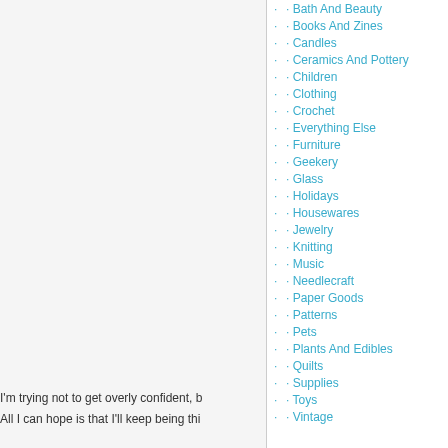Bath And Beauty
Books And Zines
Candles
Ceramics And Pottery
Children
Clothing
Crochet
Everything Else
Furniture
Geekery
Glass
Holidays
Housewares
Jewelry
Knitting
Music
Needlecraft
Paper Goods
Patterns
Pets
Plants And Edibles
Quilts
Supplies
Toys
Vintage
I'm trying not to get overly confident, b
All I can hope is that I'll keep being thi